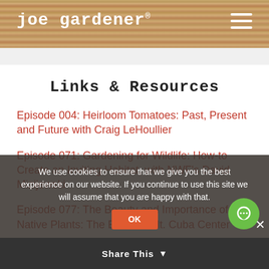joe gardener®
Links & Resources
Episode 004: Heirloom Tomatoes: Past, Present and Future with Craig LeHoullier
Episode 071: Gardening for Wildlife: How-to Create an Inviting Habitat, with NWF's David Mizijewski
Episode 077: The Beauty and Importance of Native Plants: The Ethos of Mt. Cuba Center
Episode 079: Why Our Food System is Broken: a Broken Food System, with Tom Stearn, High Mowing Seeds
We use cookies to ensure that we give you the best experience on our website. If you continue to use this site we will assume that you are happy with that.
Share This